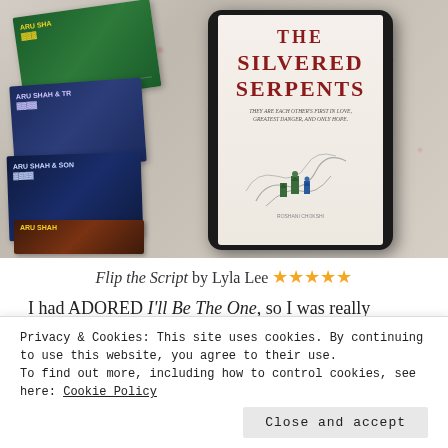[Figure (photo): Photo of a Kindle tablet displaying 'The Silvered Serpents' book cover, surrounded by stacked physical books including 'Aru Shah' series, all resting on a floral patterned fabric/bedsheet.]
Flip the Script by Lyla Lee ★★★★★
I had ADORED I'll Be The One, so I was really looking
Privacy & Cookies: This site uses cookies. By continuing to use this website, you agree to their use.
To find out more, including how to control cookies, see here: Cookie Policy
Close and accept